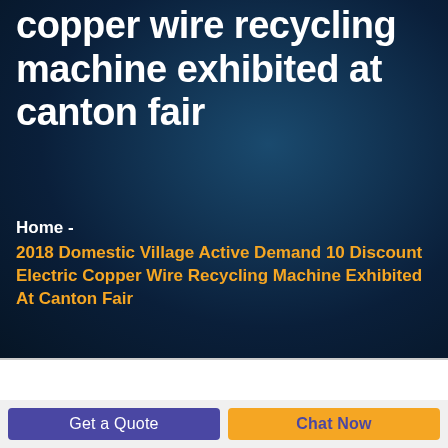copper wire recycling machine exhibited at canton fair
Home -
2018 Domestic Village Active Demand 10 Discount Electric Copper Wire Recycling Machine Exhibited At Canton Fair
Get a Quote
Chat Now